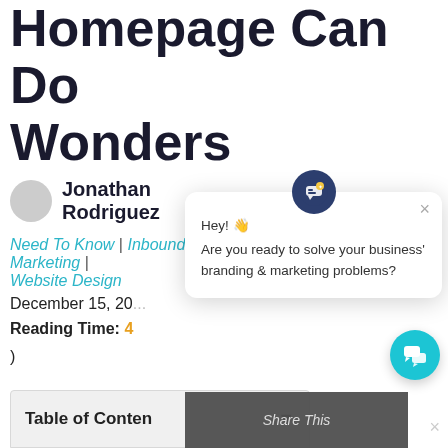Homepage Can Do Wonders
Jonathan Rodriguez
Need To Know | Inbound Marketing | Website Design
December 15, 20...
Reading Time: 4...
)
[Figure (screenshot): Chat popup widget with icon, close button, greeting 'Hey! 👋 Are you ready to solve your business' branding & marketing problems?']
| Table of Contents |
| --- |